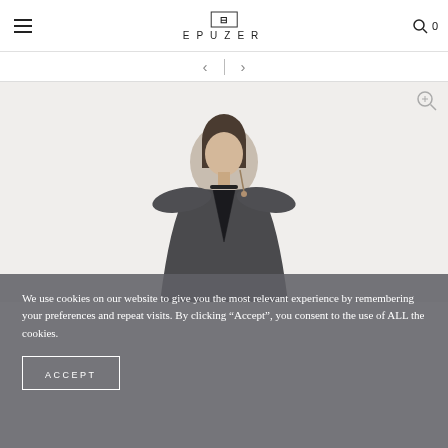[Figure (logo): EPUZER brand logo with a rectangular H-bar icon above the text EPUZER in spaced capitals]
[Figure (photo): Fashion photo of a woman wearing a dark charcoal structured blazer/jacket with deep V-neckline and a black choker necklace, hair pulled back, neutral background]
We use cookies on our website to give you the most relevant experience by remembering your preferences and repeat visits. By clicking “Accept”, you consent to the use of ALL the cookies.
ACCEPT